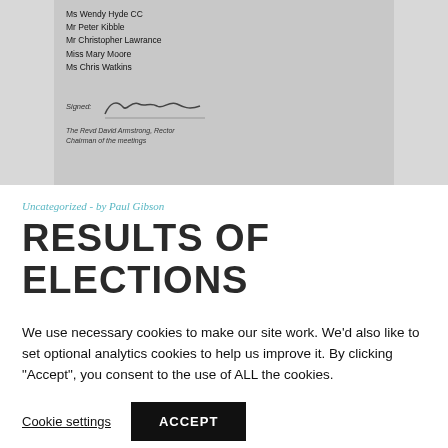[Figure (photo): Scanned document showing a list of names (Ms Wendy Hyde CC, Mr Peter Kibble, Mr Christopher Lawrance, Miss Mary Moore, Ms Chris Watkins), a signature line signed by The Revd David Armstrong, Rector, Chairman of the meetings]
Uncategorized - by Paul Gibson
RESULTS OF ELECTIONS
We use necessary cookies to make our site work. We'd also like to set optional analytics cookies to help us improve it. By clicking “Accept”, you consent to the use of ALL the cookies.
Cookie settings   ACCEPT